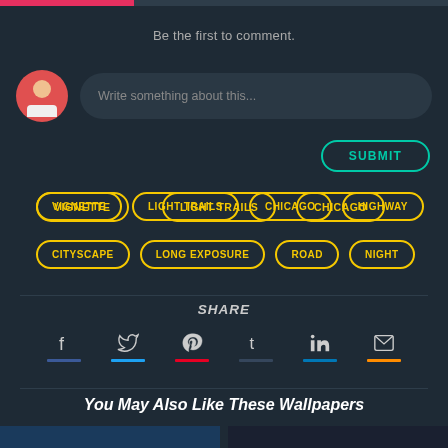Be the first to comment.
VIGNETTE
LIGHT TRAILS
CHICAGO
HIGHWAY
CITYSCAPE
LONG EXPOSURE
ROAD
NIGHT
SHARE
You May Also Like These Wallpapers